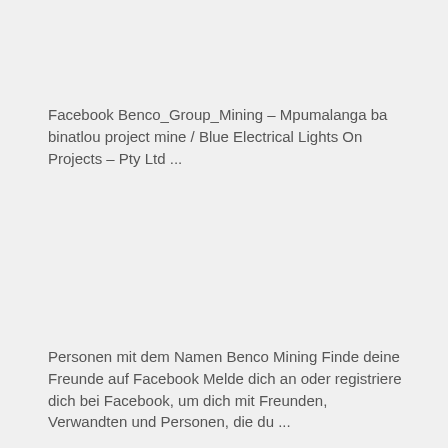Facebook Benco_Group_Mining – Mpumalanga ba binatlou project mine / Blue Electrical Lights On Projects – Pty Ltd ...
Personen mit dem Namen Benco Mining Finde deine Freunde auf Facebook Melde dich an oder registriere dich bei Facebook, um dich mit Freunden, Verwandten und Personen, die du ...